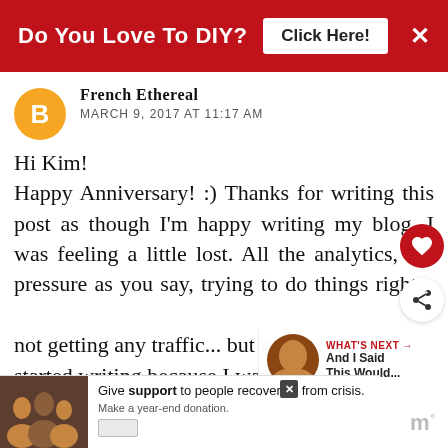[Figure (screenshot): Red ad banner at top: 'Do You Love To DIY? Click Here!' with close X button]
French Ethereal
MARCH 9, 2017 AT 11:17 AM
Hi Kim!
Happy Anniversary! :) Thanks for writing this post as though I'm happy writing my blog, I was feeling a little lost. All the analytics, the pressure as you say, trying to do things right and not getting any traffic... but really I started writing because I wanted Pen Pals. Thanks for your inspiration and I like your selfie! I'm trying to shoot a good recent shot of
[Figure (screenshot): Bottom ad banner: family photo with text 'Give support to people recovering from crisis. Make a year-end donation.']